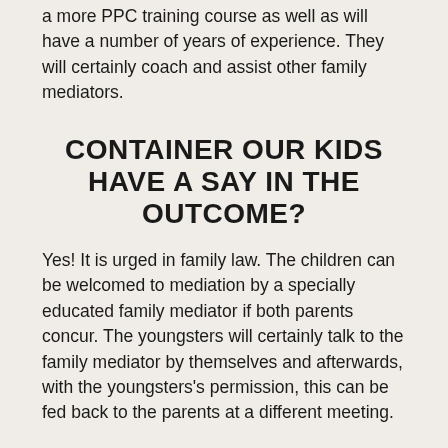a more PPC training course as well as will have a number of years of experience. They will certainly coach and assist other family mediators.
CONTAINER OUR KIDS HAVE A SAY IN THE OUTCOME?
Yes! It is urged in family law. The children can be welcomed to mediation by a specially educated family mediator if both parents concur. The youngsters will certainly talk to the family mediator by themselves and afterwards, with the youngsters's permission, this can be fed back to the parents at a different meeting.